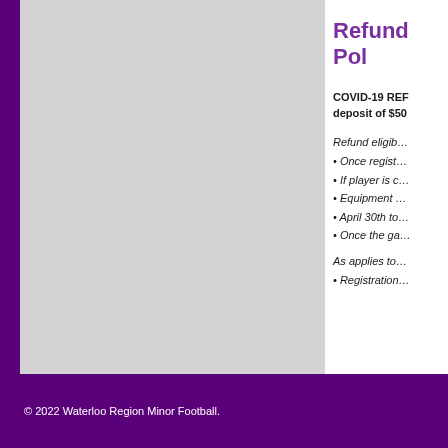Refund Pol
COVID-19 REF… deposit of $50…
Refund eligib…
• Once regist…
• If player is c…
• Equipment …
• April 30th to…
• Once the ga…
As applies to…
• Registration…
© 2022 Waterloo Region Minor Football.